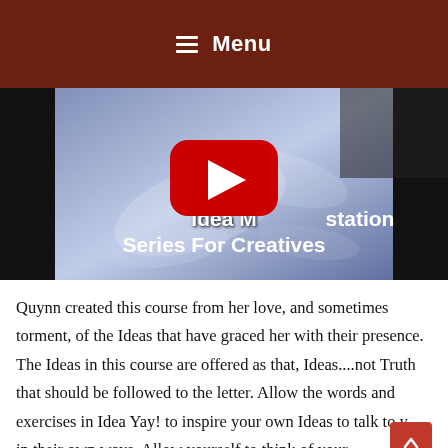≡ Menu
[Figure (screenshot): YouTube video thumbnail showing 'Idea Manifestation Series For Creatives' with a YouTube play button overlay on a blue/grey abstract background]
Quynn created this course from her love, and sometimes torment, of the Ideas that have graced her with their presence. The Ideas in this course are offered as that, Ideas....not Truth that should be followed to the letter. Allow the words and exercises in Idea Yay! to inspire your own Ideas to talk to you in their own ways. Allow yourself to think of your